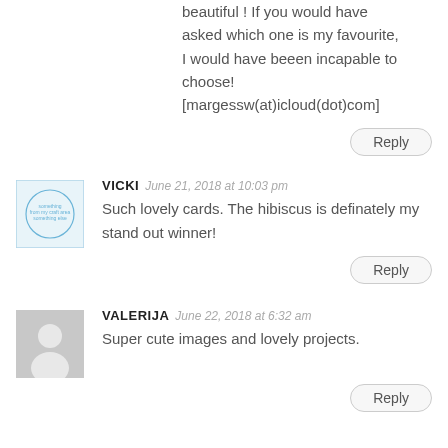beautiful ! If you would have asked which one is my favourite, I would have beeen incapable to choose! [margessw(at)icloud(dot)com]
Reply
VICKI   June 21, 2018 at 10:03 pm
Such lovely cards. The hibiscus is definately my stand out winner!
Reply
VALERIJA   June 22, 2018 at 6:32 am
Super cute images and lovely projects.
Reply